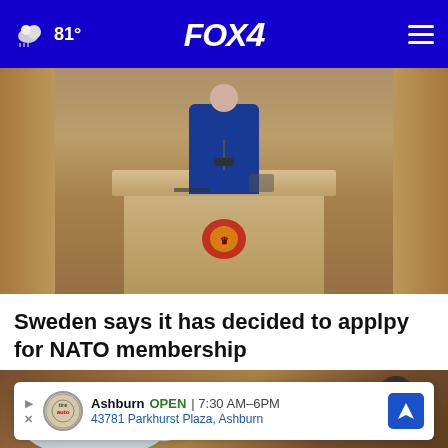FOX 4 — 81°
[Figure (photo): Person in blue suit standing at a wooden parliamentary podium with royal Swedish emblem]
Sweden says it has decided to applpy for NATO membership
[Figure (photo): Close-up of a white powder in a transparent plastic measuring scoop on a wooden surface]
Ashburn OPEN | 7:30 AM–6PM
43781 Parkhurst Plaza, Ashburn